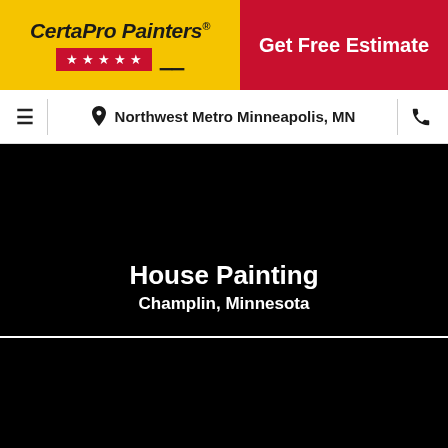[Figure (logo): CertaPro Painters logo with gold background, stars on red background, and brush/ruler icon]
Get Free Estimate
≡  📍 Northwest Metro Minneapolis, MN  📞
[Figure (photo): Dark/black hero image with white text overlay reading House Painting Champlin, Minnesota]
[Figure (photo): Dark/black secondary image section]